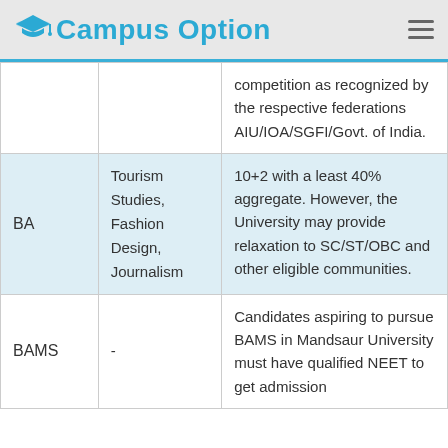Campus Option
| Degree | Specialization | Eligibility |
| --- | --- | --- |
|  |  | competition as recognized by the respective federations AIU/IOA/SGFI/Govt. of India. |
| BA | Tourism Studies, Fashion Design, Journalism | 10+2 with a least 40% aggregate. However, the University may provide relaxation to SC/ST/OBC and other eligible communities. |
| BAMS | - | Candidates aspiring to pursue BAMS in Mandsaur University must have qualified NEET to get admission |